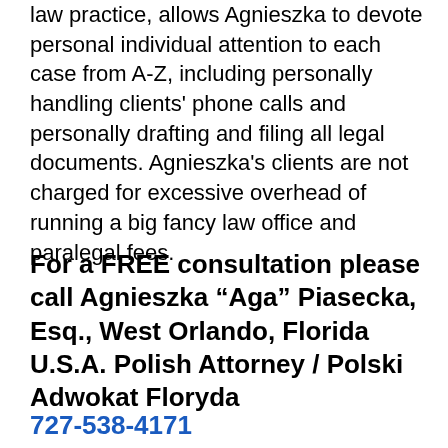law practice, allows Agnieszka to devote personal individual attention to each case from A-Z, including personally handling clients' phone calls and personally drafting and filing all legal documents. Agnieszka's clients are not charged for excessive overhead of running a big fancy law office and paralegal fees.
For a FREE consultation please call Agnieszka “Aga” Piasecka, Esq., West Orlando, Florida U.S.A. Polish Attorney / Polski Adwokat Floryda
727-538-4171